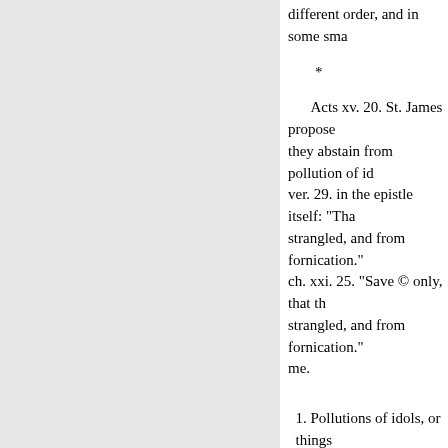different order, and in some sma
*
Acts xv. 20. St. James propose they abstain from pollution of id ver. 29. in the epistle itself: "Tha strangled, and from fornication." ch. xxi. 25. "Save © only, that th strangled, and from fornication." me.
1. Pollutions of idols, or things
The obvious sense of this regu had been offered to idols by heat epistles confirm this interpretatio viii. throughout, and x. 14—23.
But this regulation is now obs ancient heathenism, once so gene part of the world. By the progres said he would perform. Zeph. ii. the earth. And men shall worship